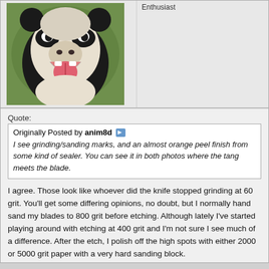[Figure (photo): Black and white dog or panda-like animal with mouth open, tongue visible, photographed outdoors with green background]
Enthusiast
Quote:
Originally Posted by anim8d
I see grinding/sanding marks, and an almost orange peel finish from some kind of sealer. You can see it in both photos where the tang meets the blade.
I agree. Those look like whoever did the knife stopped grinding at 60 grit. You'll get some differing opinions, no doubt, but I normally hand sand my blades to 800 grit before etching. Although lately I've started playing around with etching at 400 grit and I'm not sure I see much of a difference. After the etch, I polish off the high spots with either 2000 or 5000 grit paper with a very hard sanding block.
If this isn't going to be used with food, and you plan on doing more damascus blades, you might want to consider using GunKote bake on enamels.